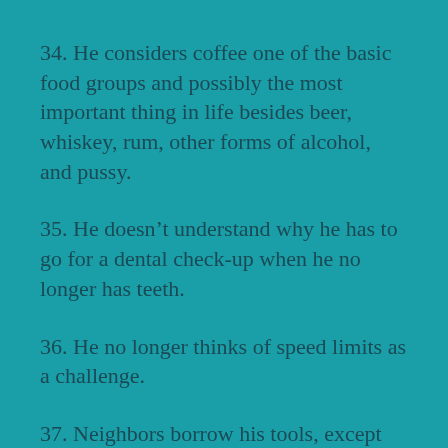34. He considers coffee one of the basic food groups and possibly the most important thing in life besides beer, whiskey, rum, other forms of alcohol, and pussy.
35. He doesn't understand why he has to go for a dental check-up when he no longer has teeth.
36. He no longer thinks of speed limits as a challenge.
37. Neighbors borrow his tools, except for the lawnmower.